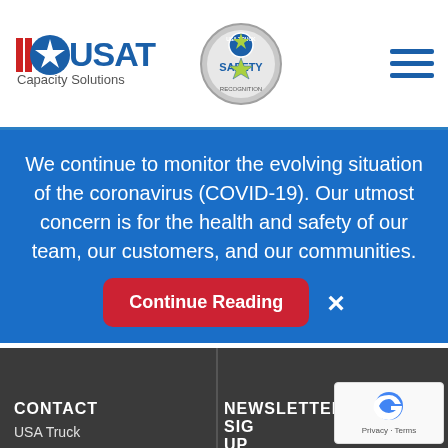[Figure (logo): USAT Capacity Solutions logo with star emblem and USA Truck safety badge]
We continue to monitor the evolving situation of the coronavirus (COVID-19). Our utmost concern is for the health and safety of our team, our customers, and our communities.
Privacy Policy
Terms Of Use
Conditions
USAT Brokerage Terms And Conditions
USA Truck Tariff
USA Truck Accessorials
UHC Transparency In Coverage Links
CONTACT
USA Truck
NEWSLETTER SIGN UP